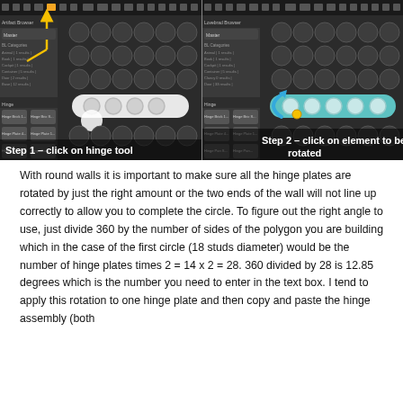[Figure (screenshot): Two side-by-side screenshots of a LEGO building software UI showing a dark grid with circular studs. Left screenshot shows Step 1 with a yellow arrow pointing to the hinge tool and a white hinge plate selected in the viewport. Right screenshot shows Step 2 with a blue rotation arrow and yellow dot on the element to be rotated.]
With round walls it is important to make sure all the hinge plates are rotated by just the right amount or the two ends of the wall will not line up correctly to allow you to complete the circle. To figure out the right angle to use, just divide 360 by the number of sides of the polygon you are building which in the case of the first circle (18 studs diameter) would be the number of hinge plates times 2 = 14 x 2 = 28. 360 divided by 28 is 12.85 degrees which is the number you need to enter in the text box. I tend to apply this rotation to one hinge plate and then copy and paste the hinge assembly (both